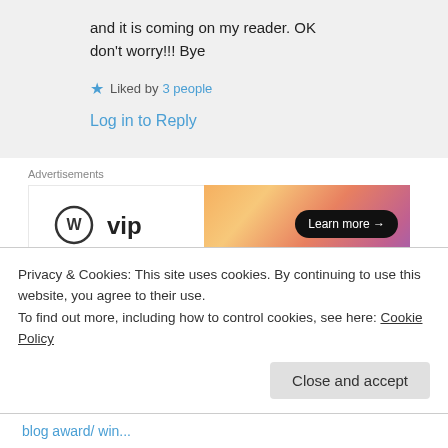and it is coming on my reader. OK don't worry!!! Bye
★ Liked by 3 people
Log in to Reply
Advertisements
[Figure (other): WordPress VIP advertisement banner with orange gradient background and 'Learn more →' button]
REPORT THIS AD
daysixtyfive on 30/06/2017 at 08:20
Privacy & Cookies: This site uses cookies. By continuing to use this website, you agree to their use.
To find out more, including how to control cookies, see here: Cookie Policy
Close and accept
blog award/ win...